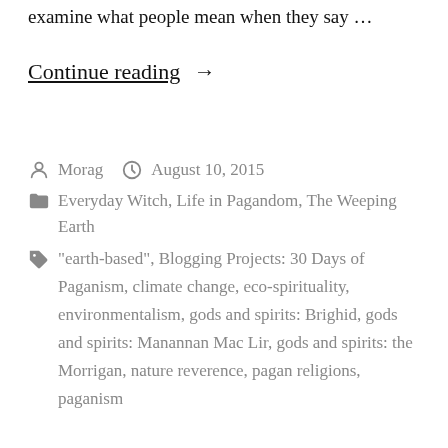examine what people mean when they say …
Continue reading →
By Morag  August 10, 2015
Everyday Witch, Life in Pagandom, The Weeping Earth
"earth-based", Blogging Projects: 30 Days of Paganism, climate change, eco-spirituality, environmentalism, gods and spirits: Brighid, gods and spirits: Manannan Mac Lir, gods and spirits: the Morrigan, nature reverence, pagan religions, paganism